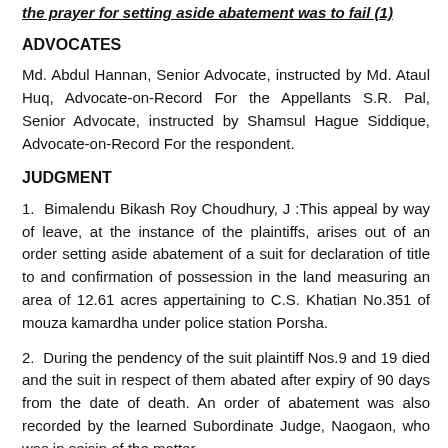the prayer for setting aside abatement was to fail (1)
ADVOCATES
Md. Abdul Hannan, Senior Advocate, instructed by Md. Ataul Huq, Advocate-on-Record For the Appellants S.R. Pal, Senior Advocate, instructed by Shamsul Hague Siddique, Advocate-on-Record For the respondent.
JUDGMENT
1.  Bimalendu Bikash Roy Choudhury, J :This appeal by way of leave, at the instance of the plaintiffs, arises out of an order setting aside abatement of a suit for declaration of title to and confirmation of possession in the land measuring an area of 12.61 acres appertaining to C.S. Khatian No.351 of mouza kamardha under police station Porsha.
2.  During the pendency of the suit plaintiff Nos.9 and 19 died and the suit in respect of them abated after expiry of 90 days from the date of death. An order of abatement was also recorded by the learned Subordinate Judge, Naogaon, who was in seisin of the matter.